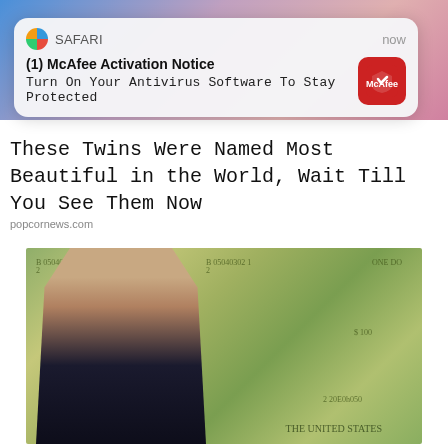[Figure (screenshot): Top portion of a mobile web page showing a colorful banner image]
[Figure (screenshot): Safari browser push notification popup: '(1) McAfee Activation Notice - Turn On Your Antivirus Software To Stay Protected' with McAfee logo icon, timestamp 'now']
These Twins Were Named Most Beautiful in the World, Wait Till You See Them Now
popcornews.com
[Figure (photo): Photo of a man in a suit overlaid on a background of US dollar bills]